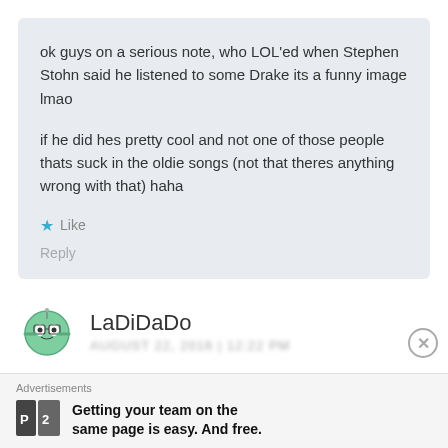ok guys on a serious note, who LOL'ed when Stephen Stohn said he listened to some Drake its a funny image lmao

if he did hes pretty cool and not one of those people thats suck in the oldie songs (not that theres anything wrong with that) haha
★ Like
Reply
[Figure (illustration): Avatar icon of a small cartoon globe character with glasses]
LaDiDaDo
Advertisements
[Figure (logo): P2 logo — dark square with letter P and number 2]
Getting your team on the same page is easy. And free.